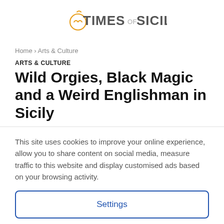[Figure (logo): Times of Sicily logo with orange fruit/heart icon and text]
Home › Arts & Culture
ARTS & CULTURE
Wild Orgies, Black Magic and a Weird Englishman in Sicily
This site uses cookies to improve your online experience, allow you to share content on social media, measure traffic to this website and display customised ads based on your browsing activity.
Settings
Accept